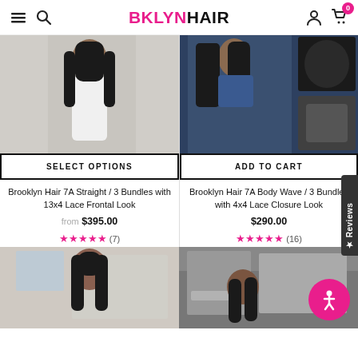BKLYN HAIR
[Figure (photo): Woman in white dress with long straight black hair - product photo for 7A Straight bundles]
SELECT OPTIONS
[Figure (photo): Woman in denim outfit with body wave hair, plus hair bundle product shots - 7A Body Wave product]
ADD TO CART
Brooklyn Hair 7A Straight / 3 Bundles with 13x4 Lace Frontal Look
from $395.00
★★★★★ (7)
Brooklyn Hair 7A Body Wave / 3 Bundles with 4x4 Lace Closure Look
$290.00
★★★★★ (16)
[Figure (photo): Woman with straight hair - bottom left product]
[Figure (photo): Woman on street with hair product - bottom right product]